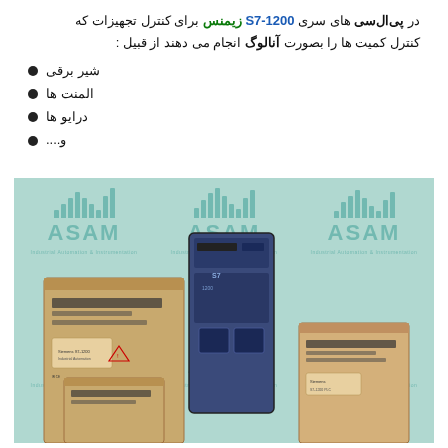در پی‌ال‌سی های سری S7-1200 زیمنس برای کنترل تجهیزات که کنترل کمیت ها را بصورت آنالوگ انجام می دهند از قبیل :
شیر برقی
المنت ها
درایو ها
و....
[Figure (photo): Photo of Siemens S7-1200 PLC modules/boxes with ASAM logo background (teal bar-chart logo pattern repeated). Cardboard boxes and a blue Siemens PLC module are stacked in the foreground.]